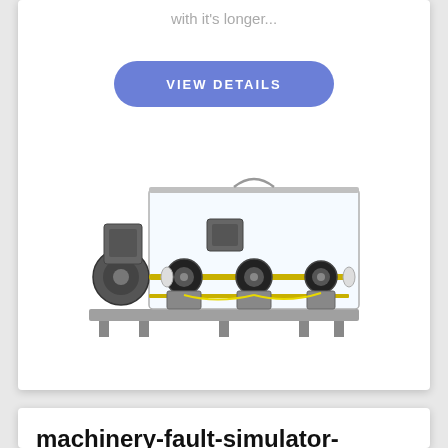with it's longer...
VIEW DETAILS
[Figure (photo): Industrial machinery fault simulator mounted on a metal base with transparent safety enclosure, showing motor, pulleys, belts, and rotating components — the Machinery Fault Simulator Magnum (MFS-MG).]
machinery-fault-simulator-magnum-mfs-mg
Spectra Quest Machinery Fault Simulator